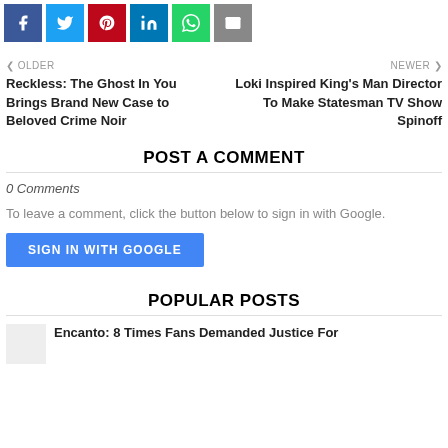[Figure (infographic): Social share buttons row: Facebook (blue), Twitter (cyan), Pinterest (red), LinkedIn (dark blue), WhatsApp (green), Email (gray)]
< OLDER
Reckless: The Ghost In You Brings Brand New Case to Beloved Crime Noir
NEWER >
Loki Inspired King's Man Director To Make Statesman TV Show Spinoff
POST A COMMENT
0 Comments
To leave a comment, click the button below to sign in with Google.
SIGN IN WITH GOOGLE
POPULAR POSTS
Encanto: 8 Times Fans Demanded Justice For